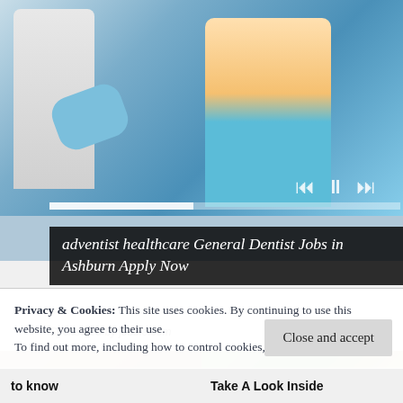[Figure (photo): Dentist in white coat and blue gloves with a smiling boy patient in a dental chair with teal dental bib]
adventist healthcare General Dentist Jobs in Ashburn Apply Now
Sponsored by jobble.com
[Figure (photo): Person in grey top with hands crossed over chest]
[Figure (photo): Donald Trump smiling with woman beside him in front of green hedge]
Privacy & Cookies: This site uses cookies. By continuing to use this website, you agree to their use.
To find out more, including how to control cookies, see here: Cookie Policy
Close and accept
to know
Take A Look Inside